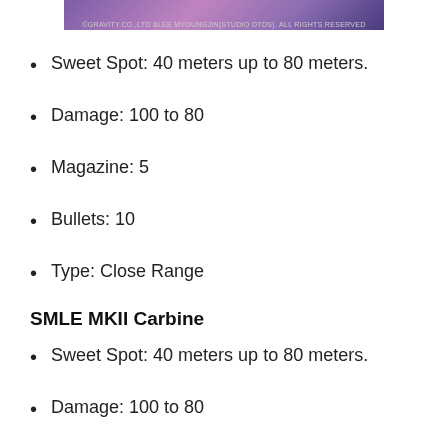[Figure (illustration): Banner image with anime/fantasy artwork and copyright text: ©GRAVITY.CO.,LTD &LEE MYOUNGJIN(STUDIO DTDS). ALL RIGHTS RESERVED]
Sweet Spot: 40 meters up to 80 meters.
Damage: 100 to 80
Magazine: 5
Bullets: 10
Type: Close Range
SMLE MKII Carbine
Sweet Spot: 40 meters up to 80 meters.
Damage: 100 to 80